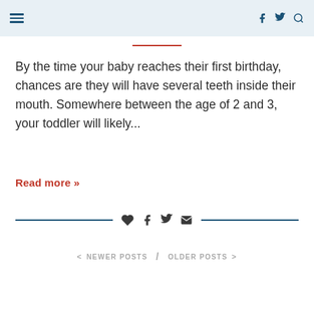Navigation header with hamburger menu and social icons (f, twitter, search)
By the time your baby reaches their first birthday, chances are they will have several teeth inside their mouth. Somewhere between the age of 2 and 3, your toddler will likely...
Read more »
< NEWER POSTS / OLDER POSTS >